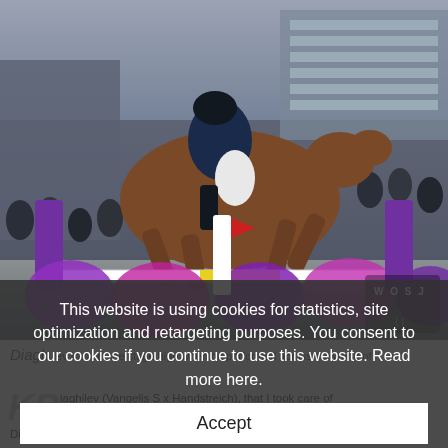[Figure (photo): Equestrian show jumping photo: a rider in a dark navy jacket and white breeches on a bay horse, jumping over a white and yellow fence. Purple and pink decorative jump wings visible in the foreground. Crowd and arena stands in the background. WoSJ logo in the bottom right corner of the image.]
Diaghilev (Vangelis S x Handstreich), that I took care of
This website is using cookies for statistics, site optimization and retargeting purposes. You consent to our cookies if you continue to use this website. Read more here.
Accept
Diaghilev would constantly be standing back in his stable and did not